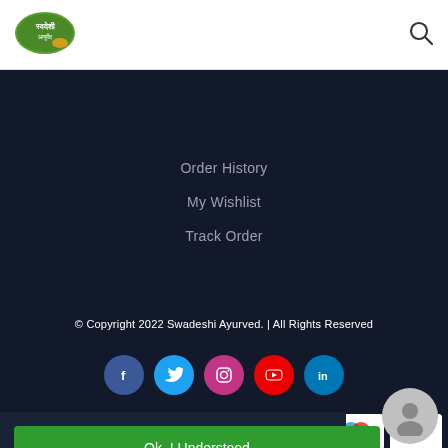[Figure (logo): Swadeshi Ayurved brand logo - green oval with Hindi text]
[Figure (other): Search magnifying glass icon]
Order History
My Wishlist
Track Order
© Copyright 2022 Swadeshi Ayurved. | All Rights Reserved
[Figure (other): Social media icons row: Facebook, Twitter, Instagram, YouTube, LinkedIn]
[Figure (other): Payment method cards: Maestro, VISA Electron]
[Figure (other): Ok. I Understood cookie consent button overlay]
[Figure (other): User profile avatar icon (grey circle with person silhouette)]